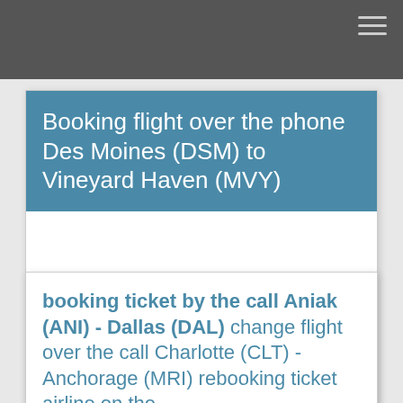Booking flight over the phone Des Moines (DSM) to Vineyard Haven (MVY)
booking ticket by the call Aniak (ANI) - Dallas (DAL) change flight over the call Charlotte (CLT) - Anchorage (MRI) rebooking ticket airline on the